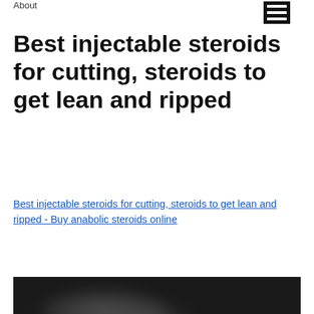About
Best injectable steroids for cutting, steroids to get lean and ripped
Best injectable steroids for cutting, steroids to get lean and ripped - Buy anabolic steroids online
[Figure (photo): Dark background image with blurred figures and colorful circular icons/buttons at the bottom]